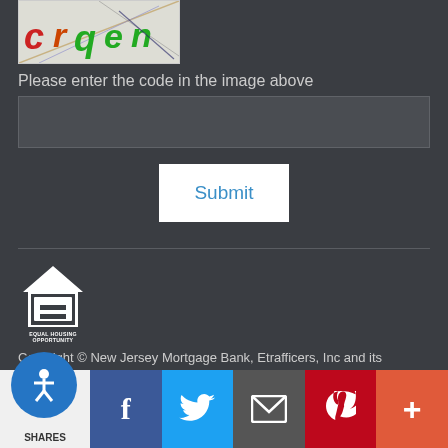[Figure (illustration): CAPTCHA image with distorted letters 'crqen' in various colors (red, green, orange) with diagonal lines overlaid on light background]
Please enter the code in the image above
[Figure (screenshot): Text input field for CAPTCHA entry, dark background]
[Figure (screenshot): Submit button, white background with blue text]
[Figure (logo): Equal Housing Opportunity logo - white house icon with equals sign inside, text reads EQUAL HOUSING OPPORTUNITY]
Copyright © New Jersey Mortgage Bank, Etrafficers, Inc and its licensors. All rights reserved.
Mortgage Websites designed and powered by Etrafficers, Inc.
[Figure (screenshot): Social sharing bar with accessibility icon, Facebook, Twitter, Email, Pinterest, and More buttons. Shows SHARES label.]